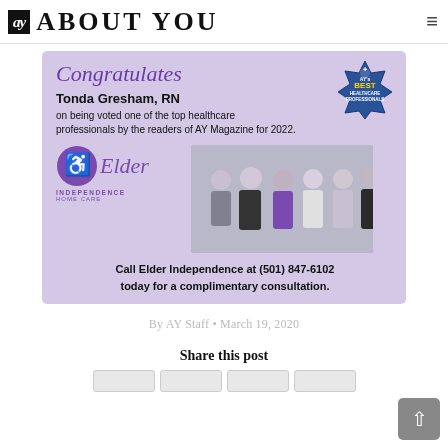ay ABOUT YOU
[Figure (photo): Elder Independence Home Care advertisement congratulating Tonda Gresham, RN on being voted one of the top healthcare professionals by the readers of AY Magazine for 2022. Features the Elder Independence logo and a group photo of staff. Includes AY Best Healthcare Professionals badge.]
By AY Staff • March 19, 2020
Share this post